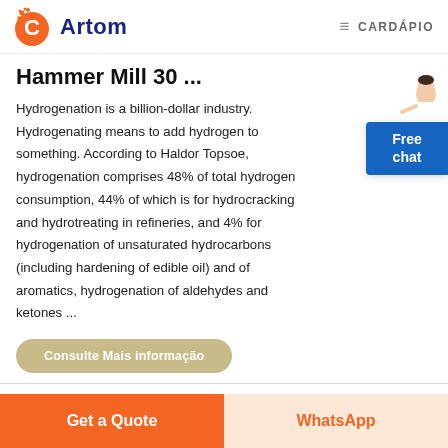Artom  ≡ CARDÁPIO
Hammer Mill 30 ...
Hydrogenation is a billion-dollar industry. Hydrogenating means to add hydrogen to something. According to Haldor Topsoe, hydrogenation comprises 48% of total hydrogen consumption, 44% of which is for hydrocracking and hydrotreating in refineries, and 4% for hydrogenation of unsaturated hydrocarbons (including hardening of edible oil) and of aromatics, hydrogenation of aldehydes and ketones ...
[Figure (illustration): Small illustration of a woman/person next to a blue 'Free chat' button widget on the right side of the page]
Consulte Mais informação
Get a Quote   WhatsApp